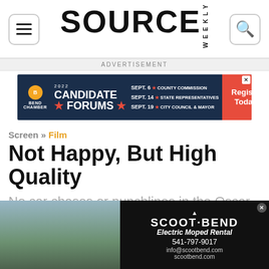SOURCE WEEKLY
[Figure (screenshot): Bend Chamber 2022 Candidate Forums advertisement banner with dates Sept. 6 County Commission, Sept. 14 State Representatives, Sept. 19 City Council & Mayor, and Register Today button]
Screen » Film
Not Happy, But High Quality
No car chases or punchlines in the Oscar documentaries
by Jared Rasic
February 04, 2015
[Figure (photo): Photo of person with scooters/mopeds outdoors, alongside Scoot Bend Electric Moped Rental advertisement (541-797-9017, info@scootbend.com, scootbend.com)]